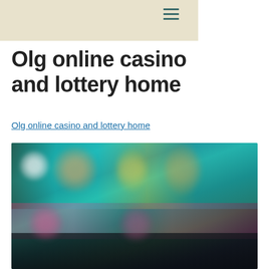☰ (hamburger menu icon)
Olg online casino and lottery home
Olg online casino and lottery home
[Figure (screenshot): Blurred screenshot of OLG online casino website showing colorful game thumbnails with character illustrations against a teal/dark background.]